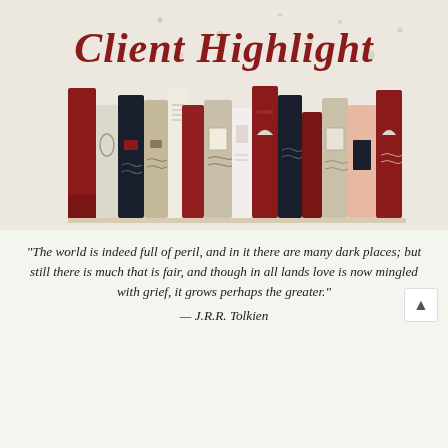[Figure (illustration): Illustration of a row of colorful books on a shelf with 'Client Highlight' text at the top in dark red bold script font, on a beige/cream speckled background.]
“The world is indeed full of peril, and in it there are many dark places; but still there is much that is fair, and though in all lands love is now mingled with grief, it grows perhaps the greater.”
— J.R.R. Tolkien